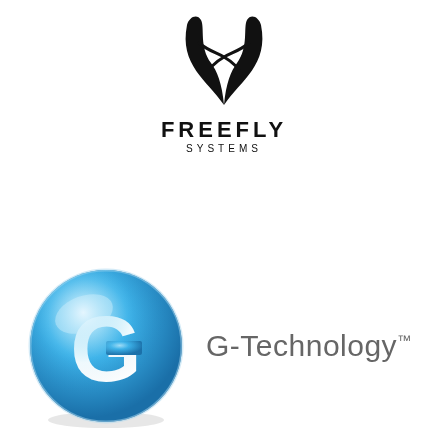[Figure (logo): Freefly Systems logo: stylized crossed propeller/fork symbol above bold text FREEFLY and smaller text SYSTEMS]
[Figure (logo): G-Technology logo: glossy blue 3D sphere with white letter G, followed by text G-Technology with trademark symbol]